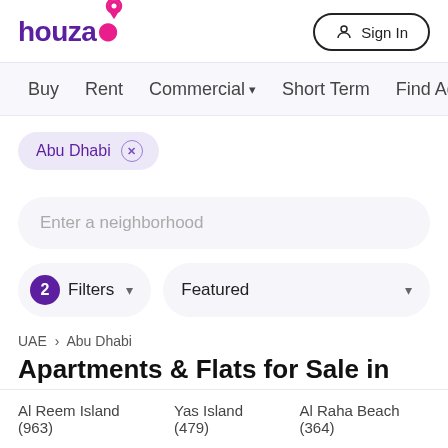houza° Sign In
Buy  Rent  Commercial ▾  Short Term  Find Agent
Abu Dhabi ×
Enter a neighborhood
2 Filters ▾   Featured ▾
UAE > Abu Dhabi
Apartments & Flats for Sale in Abu Dhabi
2,545 results
Al Reem Island (963)   Yas Island (479)   Al Raha Beach (364)